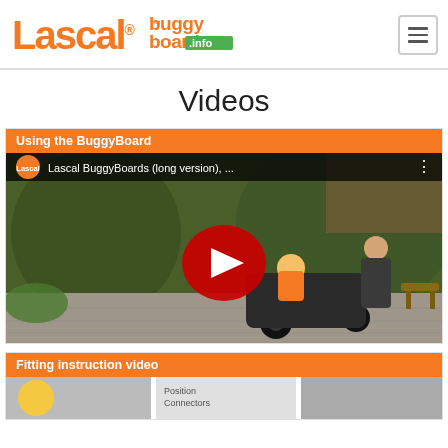Lascal® BuggyBoard.info — navigation header with hamburger menu
Videos
Using the BuggyBoard
[Figure (screenshot): YouTube video thumbnail showing a woman pushing a stroller with a child on a BuggyBoard, outdoors near hedge. Title bar reads: Lascal BuggyBoards (long version), ... with Lascal channel logo and play button overlay.]
Fitting instruction video
[Figure (screenshot): Partial YouTube video thumbnail for fitting instruction video.]